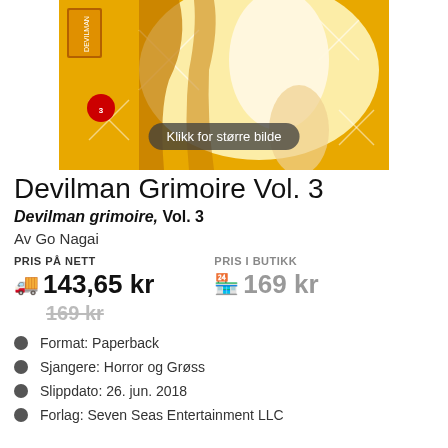[Figure (illustration): Book cover for Devilman Grimoire Vol. 3 with golden/yellow anime artwork and a 'Klikk for større bilde' (Click for larger image) overlay pill]
Devilman Grimoire Vol. 3
Devilman grimoire, Vol. 3
Av Go Nagai
PRIS PÅ NETT: 143,65 kr (strikethrough: 169 kr) | PRIS I BUTIKK: 169 kr
Format: Paperback
Sjangere: Horror og Grøss
Slippdato: 26. jun. 2018
Forlag: Seven Seas Entertainment LLC